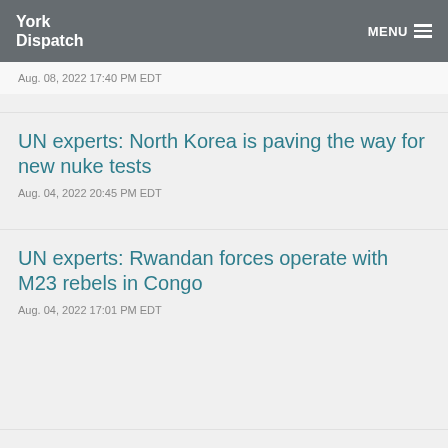York Dispatch MENU
Aug. 08, 2022 17:40 PM EDT
UN experts: North Korea is paving the way for new nuke tests
Aug. 04, 2022 20:45 PM EDT
UN experts: Rwandan forces operate with M23 rebels in Congo
Aug. 04, 2022 17:01 PM EDT